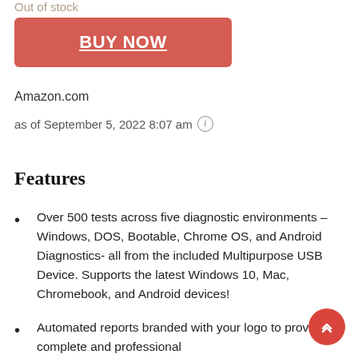Out of stock
[Figure (other): Red BUY NOW button with white underlined bold text]
Amazon.com
as of September 5, 2022 8:07 am ⓘ
Features
Over 500 tests across five diagnostic environments –Windows, DOS, Bootable, Chrome OS, and Android Diagnostics- all from the included Multipurpose USB Device. Supports the latest Windows 10, Mac, Chromebook, and Android devices!
Automated reports branded with your logo to provide a complete and professional